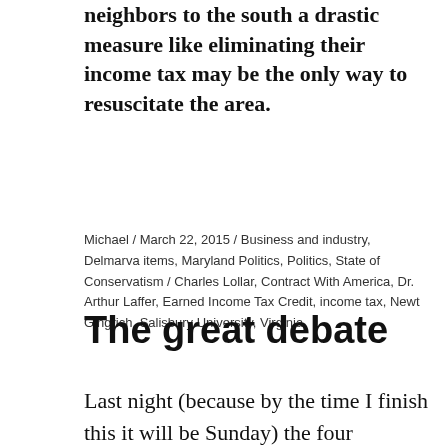neighbors to the south a drastic measure like eliminating their income tax may be the only way to resuscitate the area.
Michael / March 22, 2015 / Business and industry, Delmarva items, Maryland Politics, Politics, State of Conservatism / Charles Lollar, Contract With America, Dr. Arthur Laffer, Earned Income Tax Credit, income tax, Newt Gingrich, Salisbury University, Virginia
The great debate
Last night (because by the time I finish this it will be Sunday) the four Republican gubernatorial candidates got together at Salisbury University to discuss their vision for